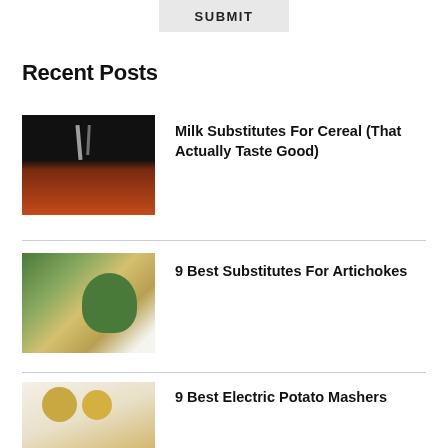SUBMIT
Recent Posts
[Figure (photo): Milk being poured over cereal in a dark bowl]
Milk Substitutes For Cereal (That Actually Taste Good)
[Figure (photo): Artichokes with dipping sauces and garlic on a plate]
9 Best Substitutes For Artichokes
[Figure (photo): Potatoes and mashed potato in a bowl]
9 Best Electric Potato Mashers